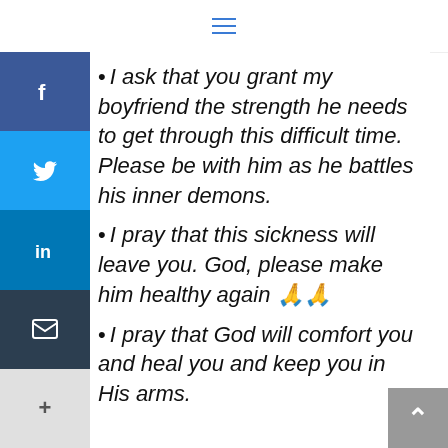≡
I ask that you grant my boyfriend the strength he needs to get through this difficult time. Please be with him as he battles his inner demons.
I pray that this sickness will leave you. God, please make him healthy again 🙏🙏
I pray that God will comfort you and heal you and keep you in His arms.